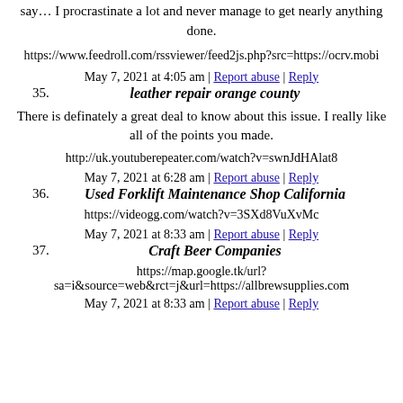say… I procrastinate a lot and never manage to get nearly anything done.
https://www.feedroll.com/rssviewer/feed2js.php?src=https://ocrv.mobi
May 7, 2021 at 4:05 am | Report abuse | Reply
35. leather repair orange county
There is definately a great deal to know about this issue. I really like all of the points you made.
http://uk.youtuberepeater.com/watch?v=swnJdHAlat8
May 7, 2021 at 6:28 am | Report abuse | Reply
36. Used Forklift Maintenance Shop California
https://videogg.com/watch?v=3SXd8VuXvMc
May 7, 2021 at 8:33 am | Report abuse | Reply
37. Craft Beer Companies
https://map.google.tk/url?sa=i&source=web&rct=j&url=https://allbrewsupplies.com
May 7, 2021 at 8:33 am | Report abuse | Reply